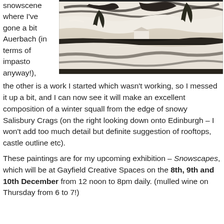snowscene where I've gone a bit Auerbach (in terms of impasto anyway!),
[Figure (photo): A heavily impasto painted snowscene landscape with trees and snowy ground, high contrast black and white with earthy tones.]
the other is a work I started which wasn't working, so I messed it up a bit, and I can now see it will make an excellent composition of a winter squall from the edge of snowy Salisbury Crags (on the right looking down onto Edinburgh – I won't add too much detail but definite suggestion of rooftops, castle outline etc).
These paintings are for my upcoming exhibition – Snowscapes, which will be at Gayfield Creative Spaces on the 8th, 9th and 10th December from 12 noon to 8pm daily. (mulled wine on Thursday from 6 to 7!)